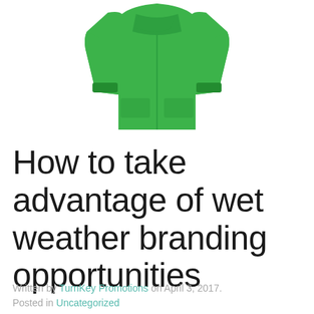[Figure (photo): A bright green rain jacket / parka shown from the front on a white background]
How to take advantage of wet weather branding opportunities
Written by TurnKey Promotions on April 3, 2017. Posted in Uncategorized